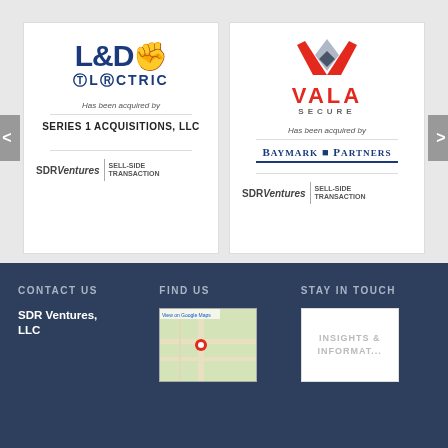[Figure (logo): L&D Electric logo with fist icon and 'Has been acquired by SERIES 1 ACQUISITIONS, LLC' text and SDR Ventures sell-side transaction footer]
[Figure (logo): Vala Secure logo with chevron icon and 'Has been acquired by Baymark Partners' text and SDR Ventures sell-side transaction footer]
CONTACT US
FIND US
STAY IN TOUCH
SDR Ventures, LLC
[Figure (map): Google Maps thumbnail showing SDR Ventures location]
[Figure (infographic): Insights & Information newsletter signup box]